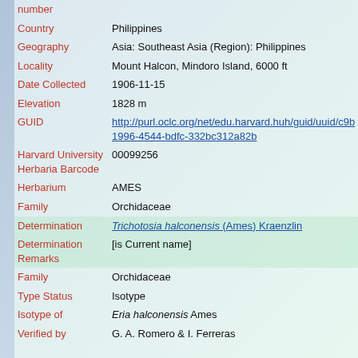| Field | Value |
| --- | --- |
| number |  |
| Country | Philippines |
| Geography | Asia: Southeast Asia (Region): Philippines |
| Locality | Mount Halcon, Mindoro Island, 6000 ft |
| Date Collected | 1906-11-15 |
| Elevation | 1828 m |
| GUID | http://purl.oclc.org/net/edu.harvard.huh/guid/uuid/c9b1996-4544-bdfc-332bc312a82b |
| Harvard University Herbaria Barcode | 00099256 |
| Herbarium | AMES |
| Family | Orchidaceae |
| Determination | Trichotosia halconensis (Ames) Kraenzlin |
| Determination Remarks | [is Current name] |
| Family | Orchidaceae |
| Type Status | Isotype |
| Isotype of | Eria halconensis Ames |
| Verified by | G. A. Romero & I. Ferreras |